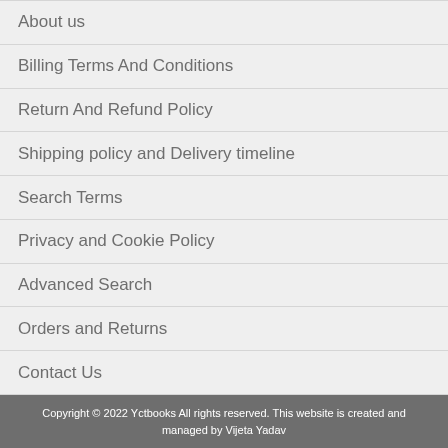About us
Billing Terms And Conditions
Return And Refund Policy
Shipping policy and Delivery timeline
Search Terms
Privacy and Cookie Policy
Advanced Search
Orders and Returns
Contact Us
Copyright © 2022 Yctbooks All rights reserved. This website is created and managed by Vijeta Yadav